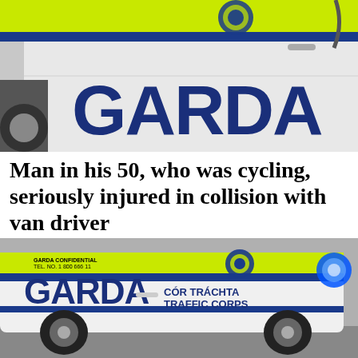[Figure (photo): Close-up photo of the side door of a Garda police car, showing the word GARDA in large dark blue letters, with a blue stripe and yellow-green high-visibility stripe. A Garda crest badge is visible near the top.]
Man in his 50, who was cycling, seriously injured in collision with van driver
[Figure (photo): Photo of a Garda Traffic Corps car (white with blue and yellow-green markings). The side reads 'GARDA CÓR TRÁCHTA TRAFFIC CORPS'. Small text at top reads 'GARDA CONFIDENTIAL TEL. NO. 1 800 666 11'. A blue flashing light is visible on the right side of the vehicle.]